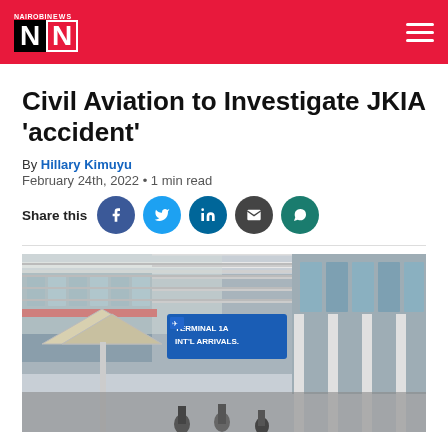NAIROBI NEWS - Navigation bar with logo and hamburger menu
Civil Aviation to Investigate JKIA 'accident'
By Hillary Kimuyu
February 24th, 2022 • 1 min read
Share this [Facebook] [Twitter] [LinkedIn] [Email] [WhatsApp]
[Figure (photo): JKIA Terminal 1A International Arrivals entrance with white canopy structure, blue sign reading TERMINAL 1A INT'L ARRIVALS, glass and steel architecture, people visible at bottom]